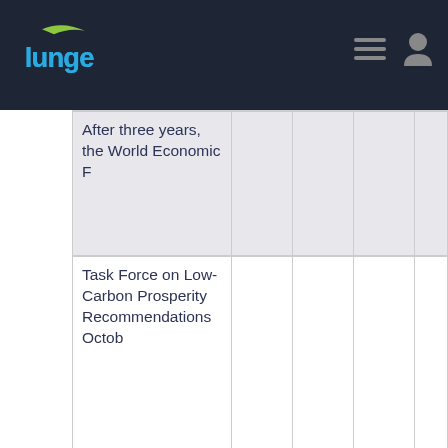Lunge
| After three years, the World Economic F |  |  |  |  |  |
| Task Force on Low-Carbon Prosperity Recommendations Octob |  |  |  |  |  |